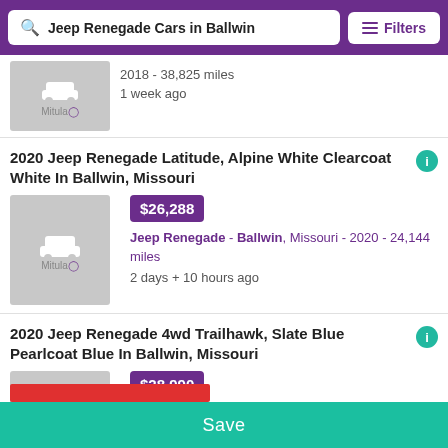Jeep Renegade Cars in Ballwin — Filters
2018 - 38,825 miles
1 week ago
2020 Jeep Renegade Latitude, Alpine White Clearcoat White In Ballwin, Missouri
$26,288
Jeep Renegade - Ballwin, Missouri - 2020 - 24,144 miles
2 days + 10 hours ago
2020 Jeep Renegade 4wd Trailhawk, Slate Blue Pearlcoat Blue In Ballwin, Missouri
$28,990
Jeep Renegade - Ballwin, Missouri - 2020 - 30,173 miles
2 days + 10 hours ago
Save